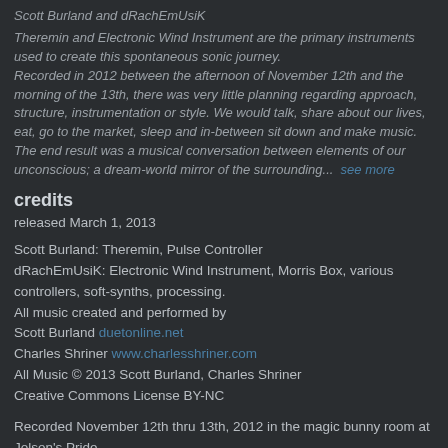Scott Burland and dRachEmUsiK
Theremin and Electronic Wind Instrument are the primary instruments used to create this spontaneous sonic journey. Recorded in 2012 between the afternoon of November 12th and the morning of the 13th, there was very little planning regarding approach, structure, instrumentation or style. We would talk, share about our lives, eat, go to the market, sleep and in-between sit down and make music. The end result was a musical conversation between elements of our unconscious; a dream-world mirror of the surrounding... see more
credits
released March 1, 2013
Scott Burland: Theremin, Pulse Controller
dRachEmUsiK: Electronic Wind Instrument, Morris Box, various controllers, soft-synths, processing.
All music created and performed by
Scott Burland duetonline.net
Charles Shriner www.charlesshriner.com
All Music © 2013 Scott Burland, Charles Shriner
Creative Commons License BY-NC
Recorded November 12th thru 13th, 2012 in the magic bunny room at Jolson's Pride.